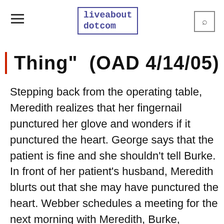liveabout dotcom
| Thing" (OAD 4/14/05)
Stepping back from the operating table, Meredith realizes that her fingernail punctured her glove and wonders if it punctured the heart. George says that the patient is fine and she shouldn't tell Burke. In front of her patient's husband, Meredith blurts out that she may have punctured the heart. Webber schedules a meeting for the next morning with Meredith, Burke, himself, and the hospital's lawyers.
Burke brings Cristina coffee and later she walks in on him while he is changing. She locks the door and